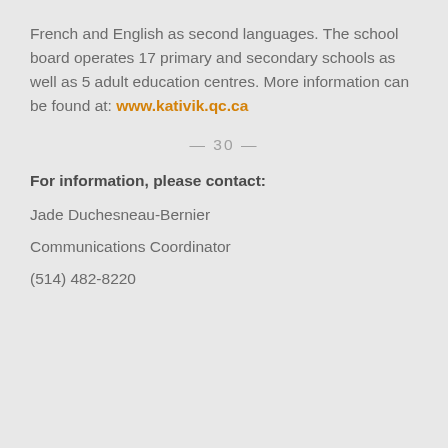French and English as second languages. The school board operates 17 primary and secondary schools as well as 5 adult education centres. More information can be found at: www.kativik.qc.ca
— 30 —
For information, please contact:
Jade Duchesneau-Bernier
Communications Coordinator
(514) 482-8220